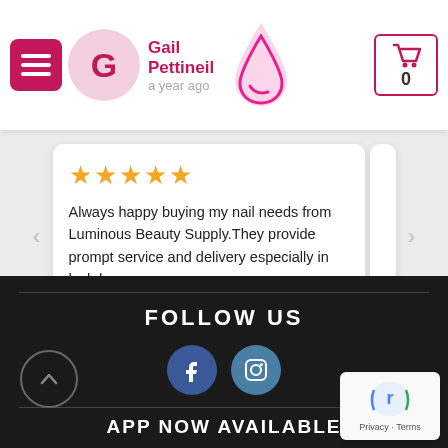Navigation bar with menu button, reviewer avatar G, Gail Pettineil, a year ago, drop logo, cart with 0
[Figure (screenshot): Review card with 5 orange stars and review text: Always happy buying my nail needs from Luminous Beauty Supply. They provide prompt service and delivery especially in lockdown]
Always happy buying my nail needs from Luminous Beauty Supply.They provide prompt service and delivery especially in lockdown
[Figure (infographic): Carousel dot indicators, first dot active (blue), four inactive dots]
FOLLOW US
[Figure (infographic): Facebook and Instagram social media icon circles]
APP NOW AVAILABLE